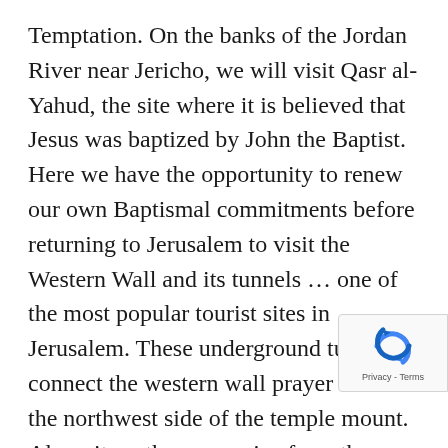Temptation. On the banks of the Jordan River near Jericho, we will visit Qasr al-Yahud, the site where it is believed that Jesus was baptized by John the Baptist. Here we have the opportunity to renew our own Baptismal commitments before returning to Jerusalem to visit the Western Wall and its tunnels … one of the most popular tourist sites in Jerusalem. These underground tunnels connect the western wall prayer area to the northwest side of the temple mount. Along its path are remains from the second temple period, as well as structures from later periods. The experience of walking along the tunnels is like taking a time machine back to the time of the second temple. Later, we'll visit the Cardo, a Byzantine road, roughly the equivalent of an eight-lane highway that ran through the heart of the city. Overnight
[Figure (other): reCAPTCHA badge with spinning arrows logo and 'Privacy - Terms' text]